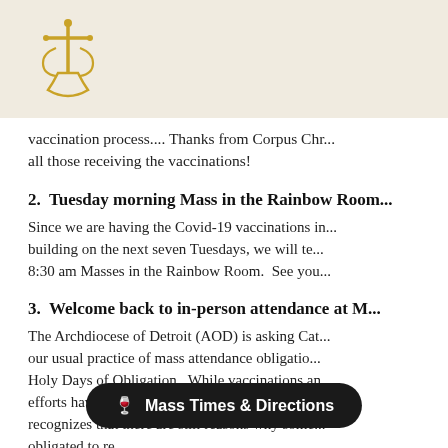[Figure (logo): Church logo with gold cross and intertwined letters on beige background]
vaccination process....  Thanks from Corpus Chr... all those receiving the vaccinations!
2.  Tuesday morning Mass in the Rainbow Room...
Since we are having the Covid-19 vaccinations in... building on the next seven Tuesdays, we will te... 8:30 am Masses in the Rainbow Room.  See you...
3.  Welcome back to in-person attendance at M...
The Archdiocese of Detroit (AOD) is asking Cat... our usual practice of mass attendance obligatio... Holy Days of Obligation.  While vaccinations an... efforts have reduced the new cases of Covid-19... recognizes that there are still reasons why some... obligated to re...